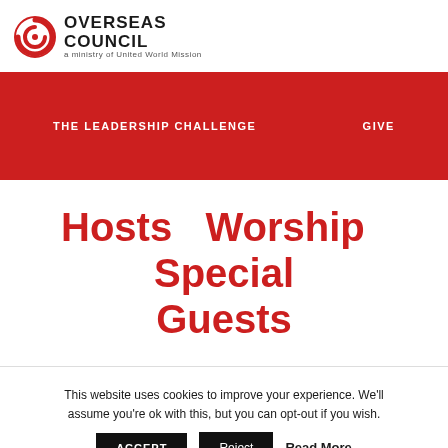OVERSEAS COUNCIL a ministry of United World Mission
THE LEADERSHIP CHALLENGE   GIVE
Hosts   Worship   Special Guests
This website uses cookies to improve your experience. We'll assume you're ok with this, but you can opt-out if you wish.
ACCEPT   Reject   Read More